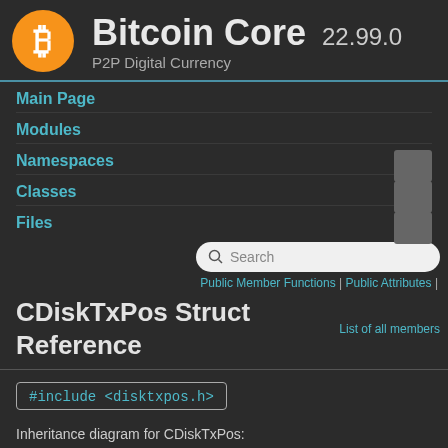Bitcoin Core 22.99.0 — P2P Digital Currency
Main Page
Modules
Namespaces
Classes
Files
CDiskTxPos Struct Reference
Public Member Functions | Public Attributes | List of all members
#include <disktxpos.h>
Inheritance diagram for CDiskTxPos: